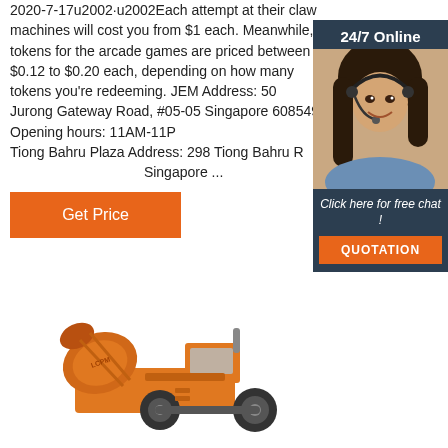2020-7-17u2002·u2002Each attempt at their claw machines will cost you from $1 each. Meanwhile, tokens for the arcade games are priced between $0.12 to $0.20 each, depending on how many tokens you're redeeming. JEM Address: 50 Jurong Gateway Road, #05-05 Singapore 608549 Opening hours: 11AM-11PM Tiong Bahru Plaza Address: 298 Tiong Bahru Road Singapore ...
[Figure (other): Button labeled Get Price with orange background]
[Figure (photo): 24/7 Online chat widget with a woman wearing a headset smiling, dark blue background, with 'Click here for free chat!' text and an orange QUOTATION button]
[Figure (photo): Orange construction/loader machine (appears to be a concrete mixer or self-loading mixer) photographed against white background]